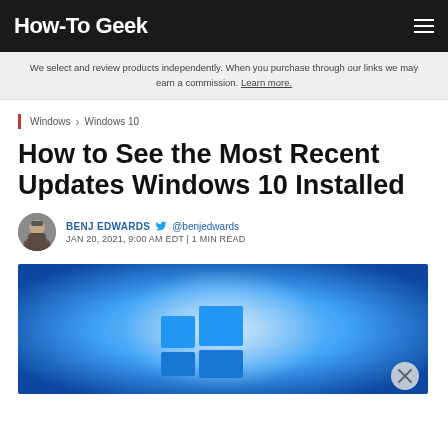How-To Geek
We select and review products independently. When you purchase through our links we may earn a commission. Learn more.
Windows › Windows 10
How to See the Most Recent Updates Windows 10 Installed
BENJ EDWARDS @benjedwards
JAN 20, 2021, 9:00 AM EDT | 1 MIN READ
[Figure (photo): Windows 10 logo on a blue gradient background with a close button overlay]